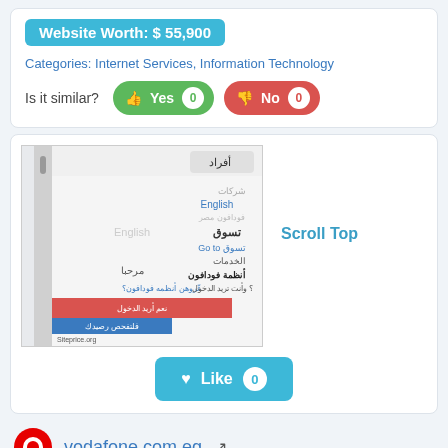Website Worth: $ 55,900
Categories: Internet Services, Information Technology
Is it similar?  Yes 0  No 0
[Figure (screenshot): Screenshot of vodafone.com.eg website showing Arabic navigation menu with options including أفراد, شركات, English, vodafone Egypt branding and colored UI elements]
Scroll Top
Like 0
vodafone.com.eg